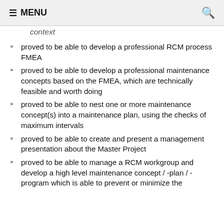☰ MENU  🔍
context
proved to be able to develop a professional RCM process FMEA
proved to be able to develop a professional maintenance concepts based on the FMEA, which are technically feasible and worth doing
proved to be able to nest one or more maintenance concept(s) into a maintenance plan, using the checks of maximum intervals
proved to be able to create and present a management presentation about the Master Project
proved to be able to manage a RCM workgroup and develop a high level maintenance concept / -plan / -program which is able to prevent or minimize the